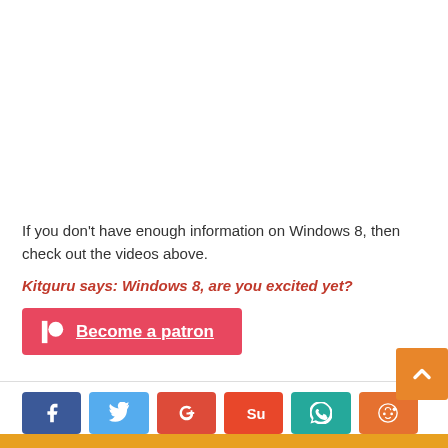If you don't have enough information on Windows 8, then check out the videos above.
Kitguru says: Windows 8, are you excited yet?
[Figure (other): Patreon button — red rounded rectangle with Patreon logo icon and 'Become a patron' underlined text]
[Figure (other): Social sharing buttons row: Facebook (blue), Twitter (light blue), Google+ (red), StumbleUpon (orange-red), WhatsApp (teal), Reddit (orange)]
[Figure (other): Back-to-top orange button with upward chevron, bottom right corner]